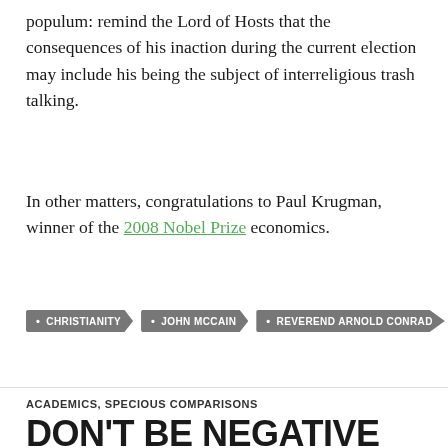populum: remind the Lord of Hosts that the consequences of his inaction during the current election may include his being the subject of interreligious trash talking.
In other matters, congratulations to Paul Krugman, winner of the 2008 Nobel Prize economics.
CHRISTIANITY
JOHN MCCAIN
REVEREND ARNOLD CONRAD
ACADEMICS, SPECIOUS COMPARISONS
DON'T BE NEGATIVE
10/11/2008  JOHN CASEY  2 COMMENTS